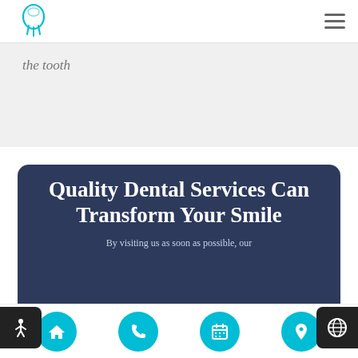[Figure (logo): Dental clinic logo - stylized tooth with teal/blue color scheme]
the tooth
Quality Dental Services Can Transform Your Smile
By visiting us as soon as possible, our
[Figure (infographic): Bottom navigation bar with four cyan circular icon buttons: home, phone, calendar, location pin]